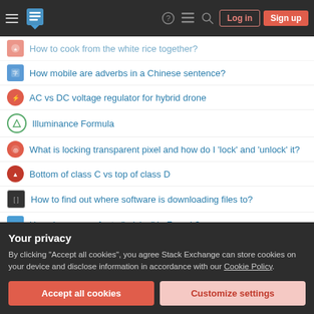Stack Exchange navigation bar with Log in and Sign up buttons
How mobile are adverbs in a Chinese sentence?
AC vs DC voltage regulator for hybrid drone
Illuminance Formula
What is locking transparent pixel and how do I 'lock' and 'unlock' it?
Bottom of class C vs top of class D
How to find out where software is downloading files to?
How does one refer to "raisins" in French?
Is molten the past participle of melt?
Your privacy
By clicking "Accept all cookies", you agree Stack Exchange can store cookies on your device and disclose information in accordance with our Cookie Policy.
Accept all cookies   Customize settings